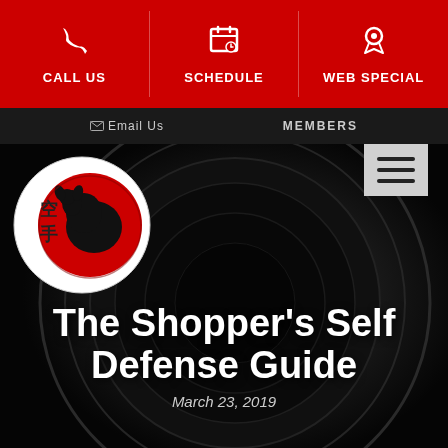CALL US | SCHEDULE | WEB SPECIAL
Email Us   MEMBERS
[Figure (logo): Martial arts school logo: circular badge with red and black design showing a black dog/wolf silhouette on a red circle, with Japanese kanji characters on the left side]
The Shopper's Self Defense Guide
March 23, 2019